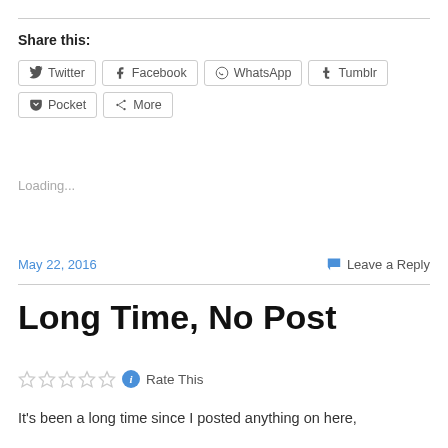Share this:
Twitter  Facebook  WhatsApp  Tumblr  Pocket  More
Loading...
May 22, 2016
Leave a Reply
Long Time, No Post
Rate This
It's been a long time since I posted anything on here,